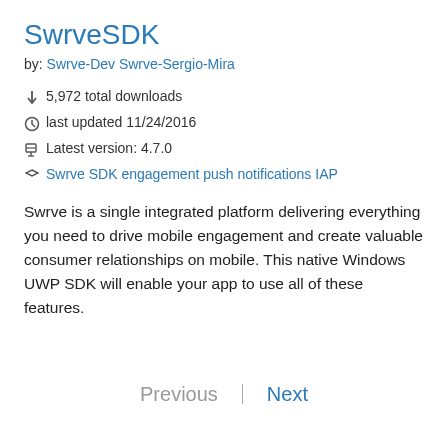SwrveSDK
by: Swrve-Dev Swrve-Sergio-Mira
5,972 total downloads
last updated 11/24/2016
Latest version: 4.7.0
Swrve SDK engagement push notifications IAP
Swrve is a single integrated platform delivering everything you need to drive mobile engagement and create valuable consumer relationships on mobile. This native Windows UWP SDK will enable your app to use all of these features.
Previous | Next